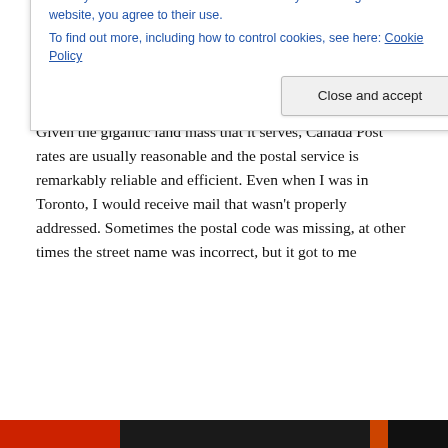me not to worry, that I would have everything I really needed in Yellowknife. What wasn't said was that some of it would have to be obtained online. But in essence the advice was correct, thanks to Canada Post.
Given the gigantic land mass that it serves, Canada Post rates are usually reasonable and the postal service is remarkably reliable and efficient. Even when I was in Toronto, I would receive mail that wasn't properly addressed. Sometimes the postal code was missing, at other times the street name was incorrect, but it got to me
Privacy & Cookies: This site uses cookies. By continuing to use this website, you agree to their use.
To find out more, including how to control cookies, see here: Cookie Policy